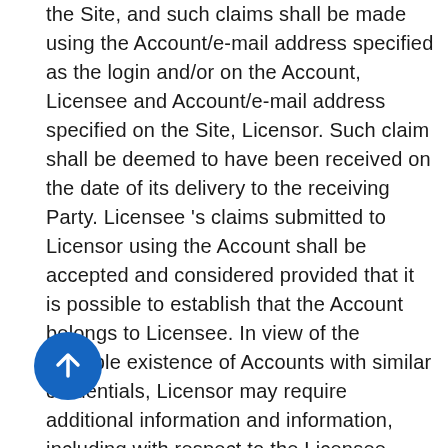the Site, and such claims shall be made using the Account/e-mail address specified as the login and/or on the Account, Licensee and Account/e-mail address specified on the Site, Licensor. Such claim shall be deemed to have been received on the date of its delivery to the receiving Party. Licensee 's claims submitted to Licensor using the Account shall be accepted and considered provided that it is possible to establish that the Account belongs to Licensee. In view of the possible existence of Accounts with similar credentials, Licensor may require additional information and information, including with respect to the Licensee Account, to determine which Account is the subject of a claim or to determine whether the Account belongs to the person making the claim. If disputes are not settled by negotiation, the disputes shall be settled in accordance with procedure established by the current legislation of the Russian Federation in court at the location (address) of Licensor.